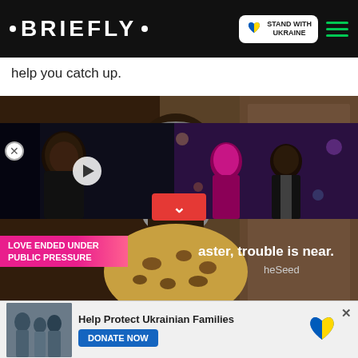• BRIEFLY •
help you catch up.
[Figure (photo): Screenshot of a Briefly news website showing an elderly Black man in a leopard-print shirt with subtitle 'aster, trouble is near.' overlaid. Bottom portion shows a video thumbnail of Jamie Foxx, an event photo overlay, and text 'LOVE ENDED UNDER PUBLIC PRESSURE'. A 'TheSeed' watermark is visible. Bottom has a Ukraine donation banner reading 'Help Protect Ukrainian Families' with a DONATE NOW button.]